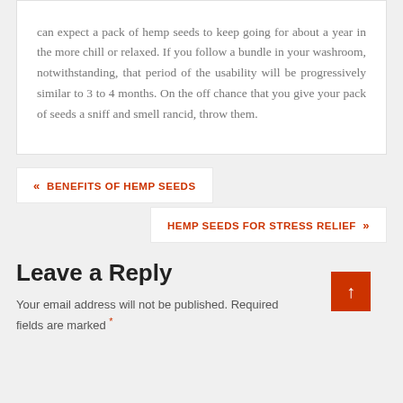can expect a pack of hemp seeds to keep going for about a year in the more chill or relaxed. If you follow a bundle in your washroom, notwithstanding, that period of the usability will be progressively similar to 3 to 4 months. On the off chance that you give your pack of seeds a sniff and smell rancid, throw them.
« BENEFITS OF HEMP SEEDS
HEMP SEEDS FOR STRESS RELIEF »
Leave a Reply
Your email address will not be published. Required fields are marked *